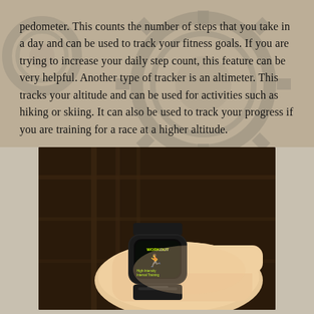pedometer. This counts the number of steps that you take in a day and can be used to track your fitness goals. If you are trying to increase your daily step count, this feature can be very helpful. Another type of tracker is an altimeter. This tracks your altitude and can be used for activities such as hiking or skiing. It can also be used to track your progress if you are training for a race at a higher altitude.
[Figure (photo): A person wearing a smartwatch (Apple Watch) on their wrist displaying a workout app screen with green text, set against a dark background with shelves.]